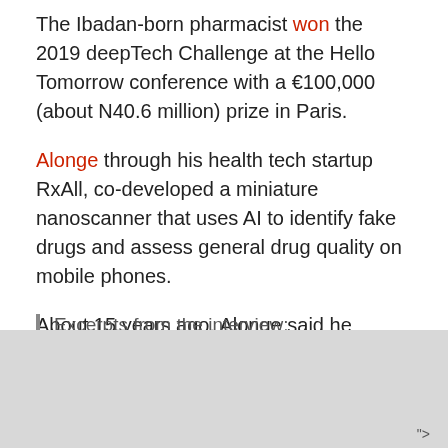The Ibadan-born pharmacist won the 2019 deepTech Challenge at the Hello Tomorrow conference with a €100,000 (about N40.6 million) prize in Paris.
Alonge through his health tech startup RxAll, co-developed a miniature nanoscanner that uses AI to identify fake drugs and assess general drug quality on mobile phones.
About 15 years ago, Alonge said he almost died of fake drug while growing up in Ibadan. That experience prompted him to study pharmacy at the University of Ibadan. Over the years, he has worked in the pharma industry globally with major multinationals such as Roche-Swipha, BASF and BCG.
Excerpts from the interview: